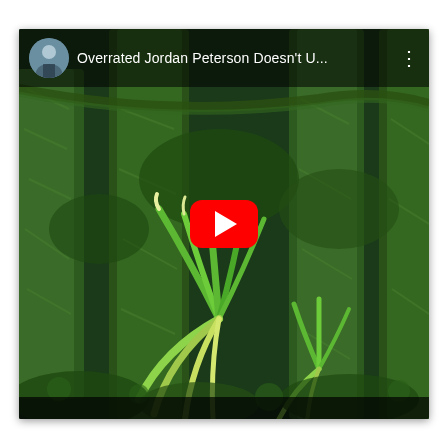[Figure (screenshot): A YouTube video thumbnail showing a forest scene with moss-covered trees and epiphytic plants (bromeliads). The video is titled 'Overrated Jordan Peterson Doesn't U...' with a red YouTube play button centered on the thumbnail. A circular avatar of a person in a suit is shown in the top-left corner of the video player interface.]